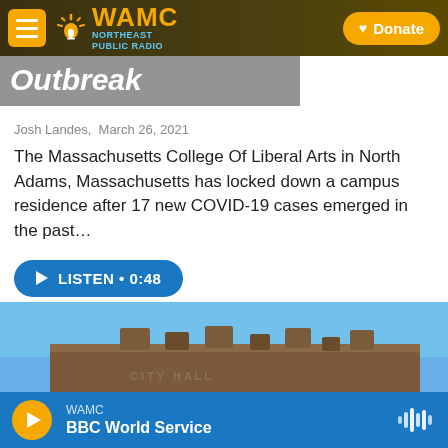WAMC NORTHEAST PUBLIC RADIO | Donate
Outbreak
Josh Landes,  March 26, 2021
The Massachusetts College Of Liberal Arts in North Adams, Massachusetts has locked down a campus residence after 17 new COVID-19 cases emerged in the past…
LISTEN • 0:48
[Figure (photo): Photo of a brick building with turrets against a blue sky, partially cut off at the bottom of the page]
WAMC – BBC World Service